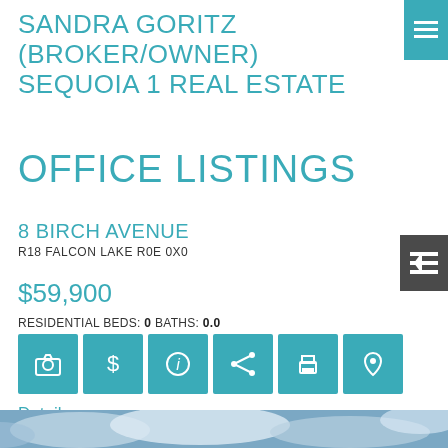SANDRA GORITZ (BROKER/OWNER) SEQUOIA 1 REAL ESTATE
OFFICE LISTINGS
8 BIRCH AVENUE
R18 FALCON LAKE R0E 0X0
$59,900
RESIDENTIAL BEDS: 0 BATHS: 0.0
Details  Photos  Map